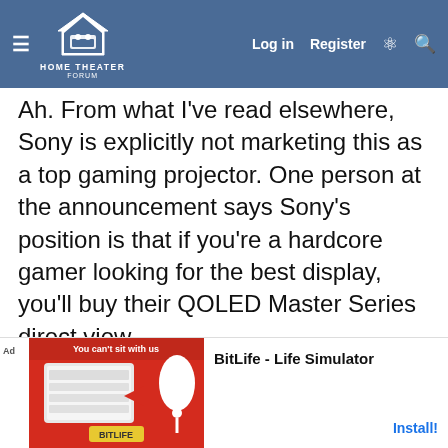Home Theater Forum — Log in | Register
Ah. From what I've read elsewhere, Sony is explicitly not marketing this as a top gaming projector. One person at the announcement says Sony's position is that if you're a hardcore gamer looking for the best display, you'll buy their QOLED Master Series direct view.
[Figure (screenshot): BitLife - Life Simulator advertisement banner at the bottom of the page]